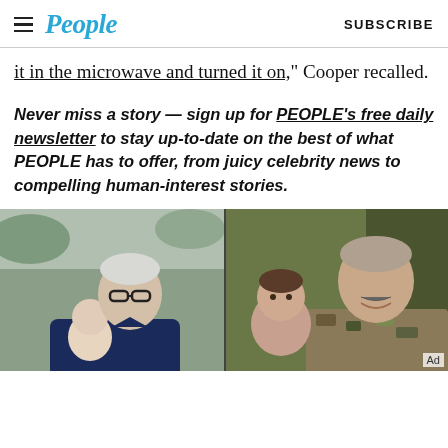People — SUBSCRIBE
it in the microwave and turned it on,” Cooper recalled.
Never miss a story — sign up for PEOPLE’s free daily newsletter to stay up-to-date on the best of what PEOPLE has to offer, from juicy celebrity news to compelling human-interest stories.
[Figure (photo): Two-panel photo: left shows Anderson Cooper holding a bald baby outdoors, right shows Andy Cohen smiling with a toddler indoors against an olive-green background. An 'Ad' label appears in the bottom right.]